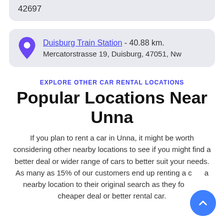42697
Duisburg Train Station - 40.88 km. Mercatorstrasse 19, Duisburg, 47051, Nw
EXPLORE OTHER CAR RENTAL LOCATIONS
Popular Locations Near Unna
If you plan to rent a car in Unna, it might be worth considering other nearby locations to see if you might find a better deal or wider range of cars to better suit your needs. As many as 15% of our customers end up renting a car a nearby location to their original search as they found a cheaper deal or better rental car.